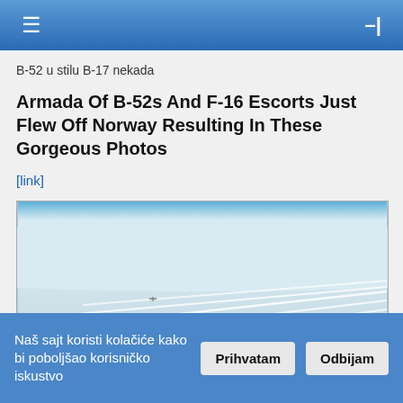Navigation bar with hamburger menu and login icon
B-52 u stilu B-17 nekada
Armada Of B-52s And F-16 Escorts Just Flew Off Norway Resulting In These Gorgeous Photos
[link]
[Figure (photo): Aerial photo of B-52 bombers flying in formation over clouds, leaving contrails. Engine nacelles visible in lower right corner. Blue sky horizon visible at top of frame.]
Naš sajt koristi kolačiće kako bi poboljšao korisničko iskustvo  Prihvatam  Odbijam